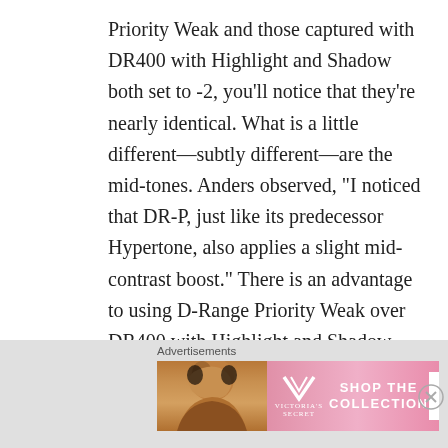Priority Weak and those captured with DR400 with Highlight and Shadow both set to -2, you'll notice that they're nearly identical. What is a little different—subtly different—are the mid-tones. Anders observed, “I noticed that DR-P, just like its predecessor Hypertone, also applies a slight mid-contrast boost.” There is an advantage to using D-Range Priority Weak over DR400 with Highlight and Shadow reduced to their lowest option, but it is subtle. Another note is that D-Range Priority Weak requires a minimum ISO of 320 while DR400 requires a minimum ISO
Advertisements
[Figure (other): Victoria's Secret advertisement banner with a model, VS logo, 'SHOP THE COLLECTION' text, and 'SHOP NOW' button]